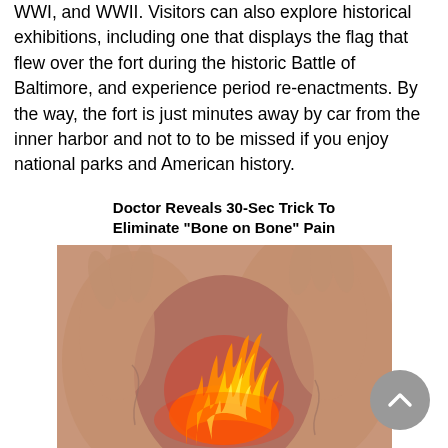WWI, and WWII. Visitors can also explore historical exhibitions, including one that displays the flag that flew over the fort during the historic Battle of Baltimore, and experience period re-enactments. By the way, the fort is just minutes away by car from the inner harbor and not to to be missed if you enjoy national parks and American history.
Doctor Reveals 30-Sec Trick To Eliminate “Bone on Bone” Pain
[Figure (photo): Photo of elderly hands gripping a knee joint with a digitally added flame/fire effect at the knee joint, suggesting pain or inflammation, on a skin-toned background.]